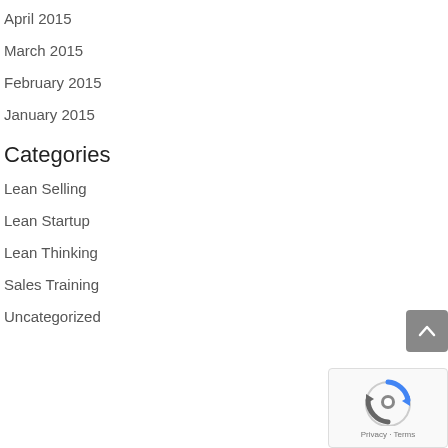April 2015
March 2015
February 2015
January 2015
Categories
Lean Selling
Lean Startup
Lean Thinking
Sales Training
Uncategorized
[Figure (other): Scroll to top button with upward chevron arrow on gray background]
[Figure (other): Google reCAPTCHA widget with logo and Privacy - Terms text]